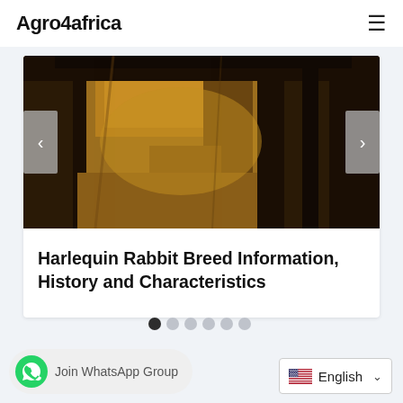Agro4africa
[Figure (photo): Close-up photo of a Harlequin rabbit with brown and black fur pattern, shown in a carousel slider with left and right navigation arrows]
Harlequin Rabbit Breed Information, History and Characteristics
[Figure (other): Carousel navigation dots — 6 dots, first one filled dark, rest gray]
Join WhatsApp Group
English